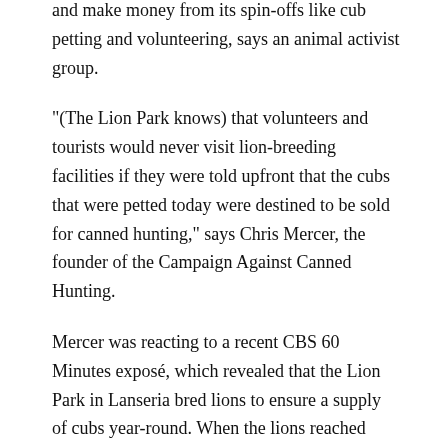and make money from its spin-offs like cub petting and volunteering, says an animal activist group.
“(The Lion Park knows) that volunteers and tourists would never visit lion-breeding facilities if they were told upfront that the cubs that were petted today were destined to be sold for canned hunting,” says Chris Mercer, the founder of the Campaign Against Canned Hunting.
Mercer was reacting to a recent CBS 60 Minutes exposé, which revealed that the Lion Park in Lanseria bred lions to ensure a supply of cubs year-round. When the lions reached maturity, they were shipped out to canned hunting operations because they were too dangerous to be near tourists.
The Lion Park said this week it planned to take legal action against the show’s producers.